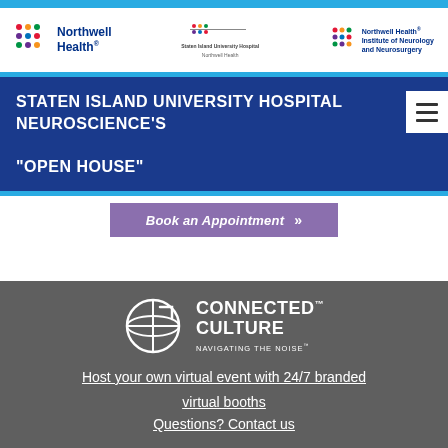[Figure (logo): Northwell Health logo (left), Staten Island University Hospital Northwell Health logo (center), Northwell Health Institute of Neurology and Neurosurgery logo (right)]
STATEN ISLAND UNIVERSITY HOSPITAL NEUROSCIENCE'S "OPEN HOUSE"
Book an Appointment »
[Figure (logo): Connected Culture - Navigating the Noise logo with globe/C icon]
Host your own virtual event with 24/7 branded virtual booths
Questions? Contact us